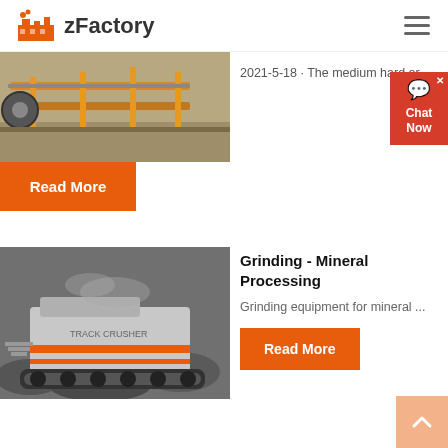zFactory
[Figure (photo): Industrial conveyor belt machinery with orange metal structures in a mining/quarry setting]
2021-5-18 · The medium hard or...
Read More
[Figure (photo): Mobile mineral grinding/crushing machine on tracks in an outdoor mining environment]
Grinding - Mineral Processing
Grinding equipment for mineral ...
Read More